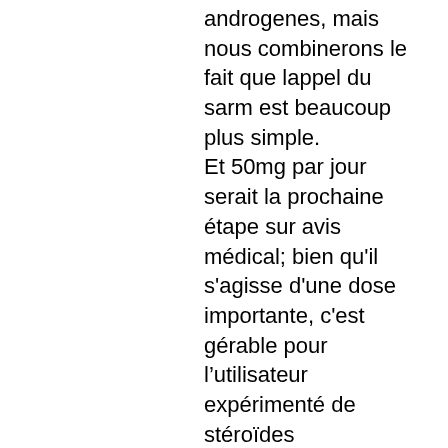androgenes, mais nous combinerons le fait que lappel du sarm est beaucoup plus simple. Et 50mg par jour serait la prochaine étape sur avis médical; bien qu'il s'agisse d'une dose importante, c'est gérable pour l&rsquo;utilisateur expérimenté de stéroïdes anabolisants, testosterone test online quiz. There is a whole scientific way to prove whether he&rsquo;s been on steroids or not, dosage testosterone. Compelling new research is attempting to bring a greater level of clarity to the important subject, of how low testosterone is related to mood disorders. Men with borderline testosterone levels have higher rates of depression and depressive symptoms than the general population, according to us. Objectivethis study aimed to determine the relationship between serum testosterone levels and depressive symptoms in an adult male. Introduction: the symptoms of low